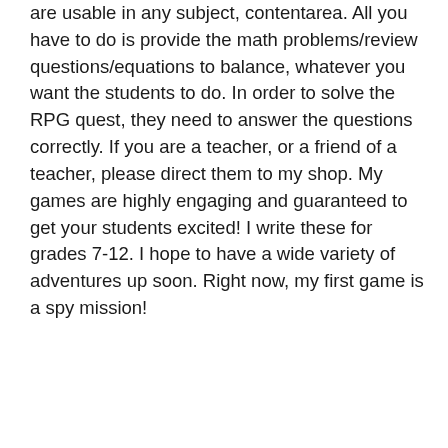are usable in any subject, contentarea. All you have to do is provide the math problems/review questions/equations to balance, whatever you want the students to do. In order to solve the RPG quest, they need to answer the questions correctly. If you are a teacher, or a friend of a teacher, please direct them to my shop. My games are highly engaging and guaranteed to get your students excited! I write these for grades 7-12. I hope to have a wide variety of adventures up soon. Right now, my first game is a spy mission!